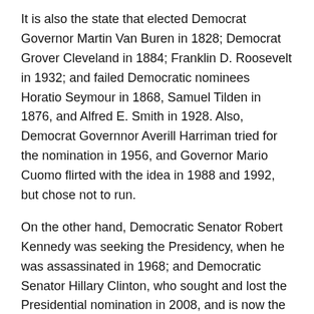It is also the state that elected Democrat Governor Martin Van Buren in 1828; Democrat Grover Cleveland in 1884; Franklin D. Roosevelt in 1932; and failed Democratic nominees Horatio Seymour in 1868, Samuel Tilden in 1876, and Alfred E. Smith in 1928. Also, Democrat Governnor Averill Harriman tried for the nomination in 1956, and Governor Mario Cuomo flirted with the idea in 1988 and 1992, but chose not to run.
On the other hand, Democratic Senator Robert Kennedy was seeking the Presidency, when he was assassinated in 1968; and Democratic Senator Hillary Clinton, who sought and lost the Presidential nomination in 2008, and is now the front runner in the Democratic Party in 2016.
Share this: